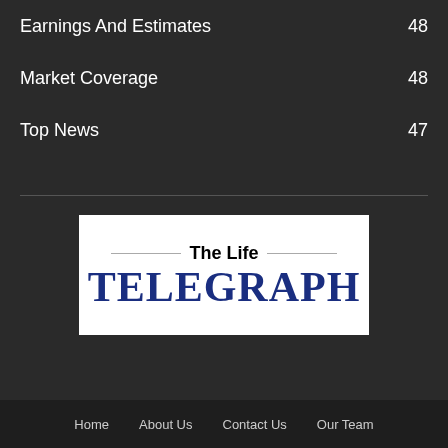Earnings And Estimates    48
Market Coverage    48
Top News    47
[Figure (logo): The Life TELEGRAPH newspaper logo. White background with decorative horizontal lines flanking 'The Life' text in bold black, and 'TELEGRAPH' in large bold navy blue serif font below.]
Home    About Us    Contact Us    Our Team